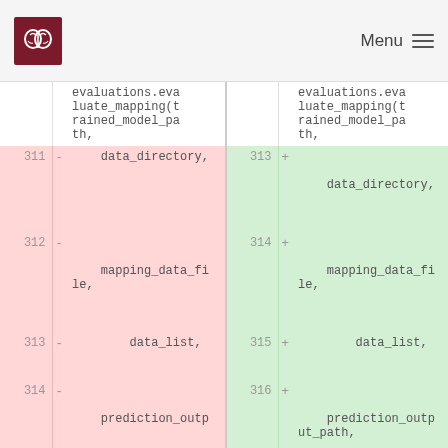Menu
| Line (old) | - | Code (old) | Line (new) | + | Code (new) |
| --- | --- | --- | --- | --- | --- |
|  |  | evaluations.evaluate_mapping(trained_model_path, |  |  | evaluations.evaluate_mapping(trained_model_path, |
| 311 | - | data_directory, | 313 | + | data_directory, |
| 312 | - | mapping_data_file, | 314 | + | mapping_data_file, |
| 313 | - | data_list, | 315 | + | data_list, |
| 314 | - | prediction_outp | 316 | + | prediction_out_path, |